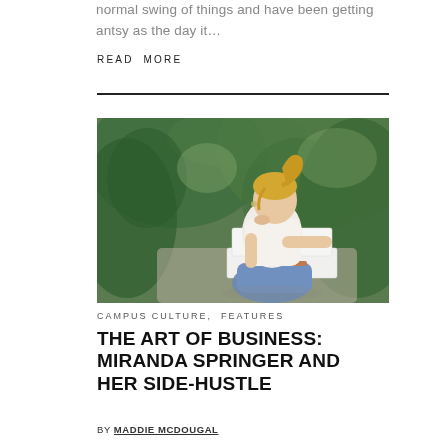normal swing of things and have been getting antsy as the day it…
READ MORE
[Figure (photo): Young blonde woman in white top and jeans, leaning on white boxes, outdoors with green foliage background]
CAMPUS CULTURE, FEATURES
THE ART OF BUSINESS: MIRANDA SPRINGER AND HER SIDE-HUSTLE
BY MADDIE MCDOUGAL